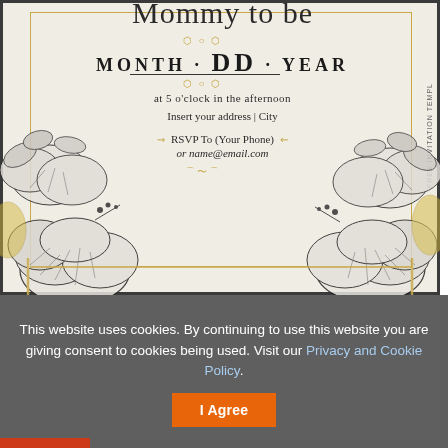[Figure (illustration): Elegant baby shower or event invitation template with floral/hibiscus line art decoration in black and gold, cream background, featuring placeholder text for date, time, address and RSVP. Side label reads FREE INVITATION TEMPL...]
This website uses cookies. By continuing to use this website you are giving consent to cookies being used. Visit our Privacy and Cookie Policy.
I Agree